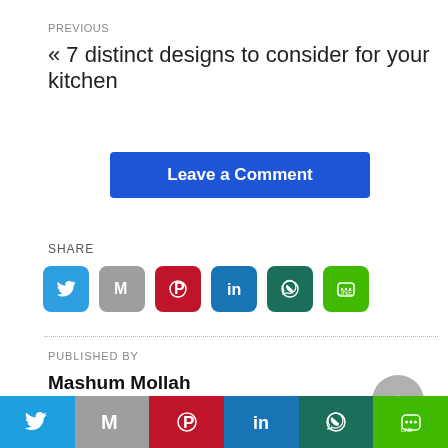PREVIOUS
« 7 distinct designs to consider for your kitchen
Leave a Comment
SHARE
[Figure (infographic): Row of 6 social share icon buttons: Twitter (blue), Gmail (gray M), Pinterest (red), LinkedIn (teal/blue), WhatsApp (dark teal), Line (green)]
PUBLISHED BY
Mashum Mollah
TAGS:
[Figure (infographic): Bottom sticky share bar with 6 colored sections: Twitter blue, Gmail gray, Pinterest red, LinkedIn blue, WhatsApp dark teal, Line green — each with respective icon]